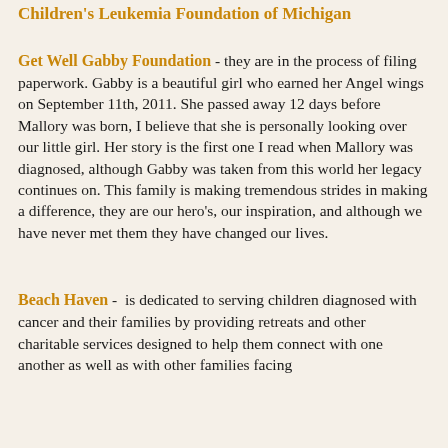Children's Leukemia Foundation of Michigan
Get Well Gabby Foundation - they are in the process of filing paperwork. Gabby is a beautiful girl who earned her Angel wings on September 11th, 2011. She passed away 12 days before Mallory was born, I believe that she is personally looking over our little girl. Her story is the first one I read when Mallory was diagnosed, although Gabby was taken from this world her legacy continues on. This family is making tremendous strides in making a difference, they are our hero's, our inspiration, and although we have never met them they have changed our lives.
Beach Haven -  is dedicated to serving children diagnosed with cancer and their families by providing retreats and other charitable services designed to help them connect with one another as well as with other families facing